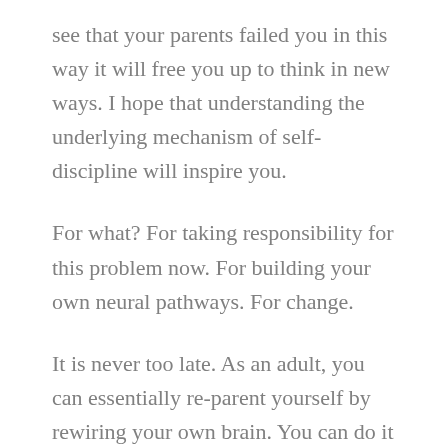see that your parents failed you in this way it will free you up to think in new ways. I hope that understanding the underlying mechanism of self-discipline will inspire you.
For what? For taking responsibility for this problem now. For building your own neural pathways. For change.
It is never too late. As an adult, you can essentially re-parent yourself by rewiring your own brain. You can do it by using a remarkably simple but amazingly effective